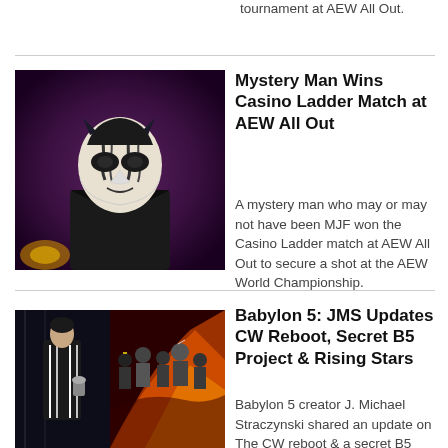tournament at AEW All Out.
Mystery Man Wins Casino Ladder Match at AEW All Out
[Figure (photo): A person wearing a white and black mask with dark eye holes and horns, dressed in a black jacket, standing in dim purple lighting.]
A mystery man who may or may not have been MJF won the Casino Ladder match at AEW All Out to secure a shot at the AEW World Championship.
Babylon 5: JMS Updates CW Reboot, Secret B5 Project & Rising Stars
[Figure (photo): Two images side by side: left shows a woman in black and white costume from Babylon 5; right shows a painted illustration of a group of superhero characters with fire in the background.]
Babylon 5 creator J. Michael Straczynski shared an update on The CW reboot & a secret B5 project, and a little